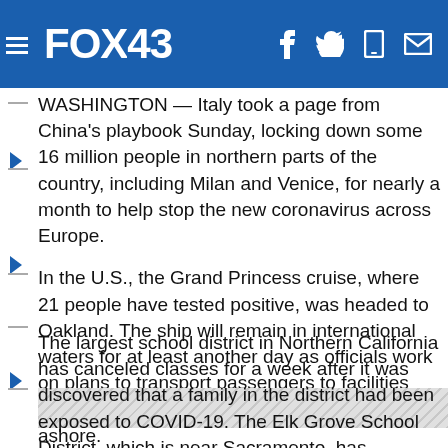FOX43
WASHINGTON — Italy took a page from China's playbook Sunday, locking down some 16 million people in northern parts of the country, including Milan and Venice, for nearly a month to help stop the new coronavirus across Europe.
In the U.S., the Grand Princess cruise, where 21 people have tested positive, was headed to Oakland. The ship will remain in international waters for at least another day as officials work on plans to transport passengers to facilities around the country, as they'll face quarantines ashore.
The largest school district in Northern California has canceled classes for a week after it was discovered that a family in the district had been exposed to COVID-19. The Elk Grove School District, which is near Sacramento, has